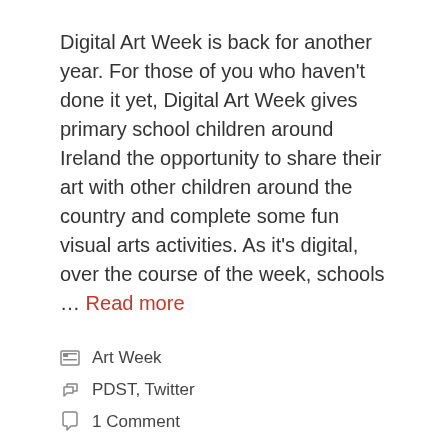Digital Art Week is back for another year. For those of you who haven't done it yet, Digital Art Week gives primary school children around Ireland the opportunity to share their art with other children around the country and complete some fun visual arts activities. As it's digital, over the course of the week, schools … Read more
Art Week
PDST, Twitter
1 Comment
Is all well with the new well-being guidelines?